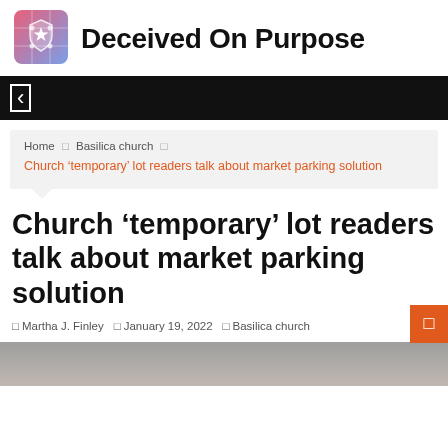Deceived On Purpose
[Figure (logo): Shield-star logo icon with pink/blue gradient grid background]
[Figure (screenshot): Black navigation bar with white bracket/menu icon]
Home · Basilica church · Church ‘temporary’ lot readers talk about market parking solution
Church ‘temporary’ lot readers talk about market parking solution
Martha J. Finley · January 19, 2022 · Basilica church
[Figure (photo): Bottom edge of a person photo, partially visible]